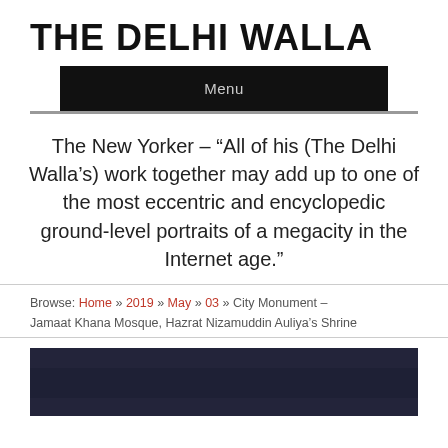THE DELHI WALLA
Menu
The New Yorker – “All of his (The Delhi Walla’s) work together may add up to one of the most eccentric and encyclopedic ground-level portraits of a megacity in the Internet age.”
Browse: Home » 2019 » May » 03 » City Monument – Jamaat Khana Mosque, Hazrat Nizamuddin Auliya’s Shrine
[Figure (photo): Dark photograph, partially visible at the bottom of the page]